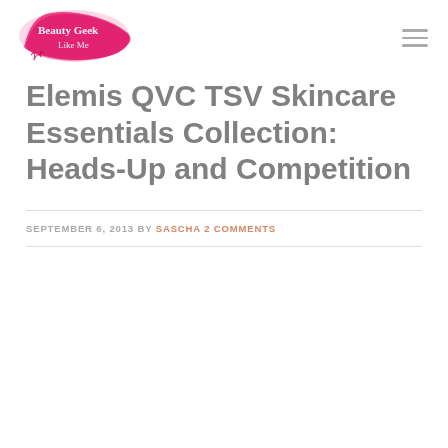[Figure (logo): Beauty Geek Like Me blog logo — pink brush stroke background with cursive white text]
Elemis QVC TSV Skincare Essentials Collection: Heads-Up and Competition
SEPTEMBER 6, 2013 BY SASCHA 2 COMMENTS